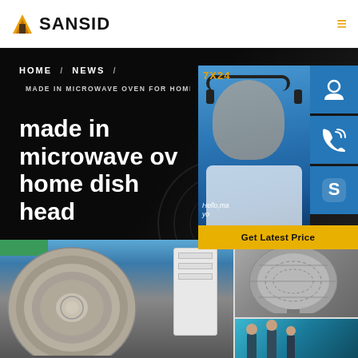SANSID
HOME / NEWS /
MADE IN MICROWAVE OVEN FOR HOME DIS
made in microwave oven home dish head
[Figure (photo): Customer service representative with headset smiling, with 7X24 badge and Get Latest Price button, and blue icon buttons for chat, phone, and Skype]
[Figure (photo): Two industrial photos: left shows large parabolic dish/antenna in a factory setting; right shows metallic spherical/dome structure and workers in teal-lit industrial environment]